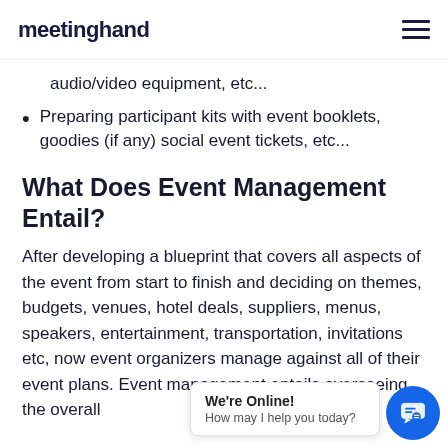meetinghand
audio/video equipment, etc...
Preparing participant kits with event booklets, goodies (if any) social event tickets, etc...
What Does Event Management Entail?
After developing a blueprint that covers all aspects of the event from start to finish and deciding on themes, budgets, venues, hotel deals, suppliers, menus, speakers, entertainment, transportation, invitations etc, now event orga[nizers manage] ag[ainst] all of their event [plans. Event] management entails overseeing the overall